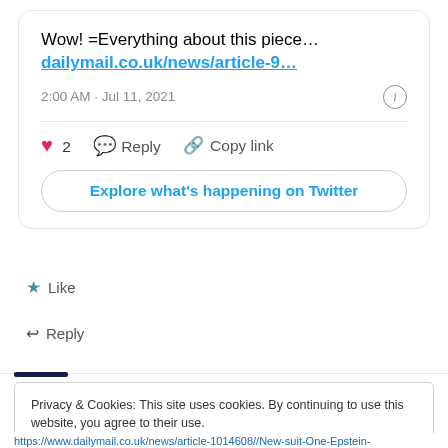Wow! =Everything about this piece… dailymail.co.uk/news/article-9...
2:00 AM · Jul 11, 2021
2  Reply  Copy link
Explore what's happening on Twitter
Like
Reply
Privacy & Cookies: This site uses cookies. By continuing to use this website, you agree to their use.
To find out more, including how to control cookies, see here: Cookie Policy
Close and accept
https://www.dailymail.co.uk/news/article-1014608//New-suit-One-Epstein-